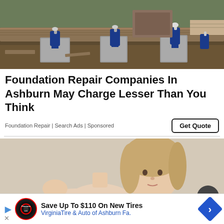[Figure (photo): Photo of a house foundation being lifted with blue hydraulic jacks under wooden beams, with dirt and debris visible underneath.]
Foundation Repair Companies In Ashburn May Charge Lesser Than You Think
Foundation Repair | Search Ads | Sponsored
Get Quote
[Figure (photo): Photo of a woman with blonde hair looking at the camera against a light beige background.]
[Figure (infographic): Advertisement banner: Save Up To $110 On New Tires — VirginiaTire & Auto of Ashburn Fa.]